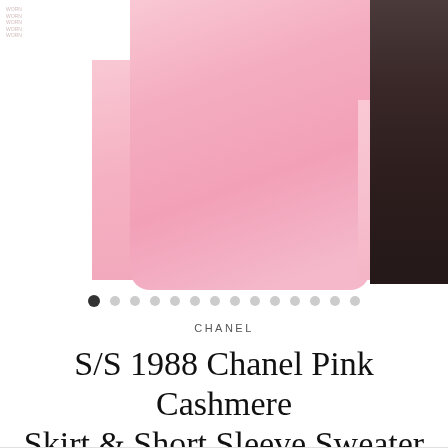[Figure (photo): Pink cashmere garment (skirt and sweater) on white background, with a dark secondary image partially visible on the right edge. Image carousel with navigation dots shown below.]
CHANEL
S/S 1988 Chanel Pink Cashmere Skirt & Short Sleeve Sweater Deadstock